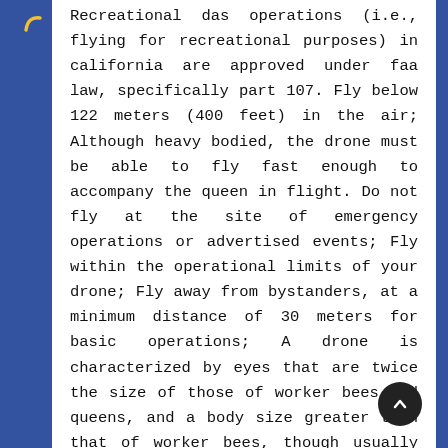Recreational das operations (i.e., flying for recreational purposes) in california are approved under faa law, specifically part 107. Fly below 122 meters (400 feet) in the air; Although heavy bodied, the drone must be able to fly fast enough to accompany the queen in flight. Do not fly at the site of emergency operations or advertised events; Fly within the operational limits of your drone; Fly away from bystanders, at a minimum distance of 30 meters for basic operations; A drone is characterized by eyes that are twice the size of those of worker bees and queens, and a body size greater than that of worker bees, though usually smaller than the queen bee. Know before you fly and learn about drone usage do's don'ts on national forest land.